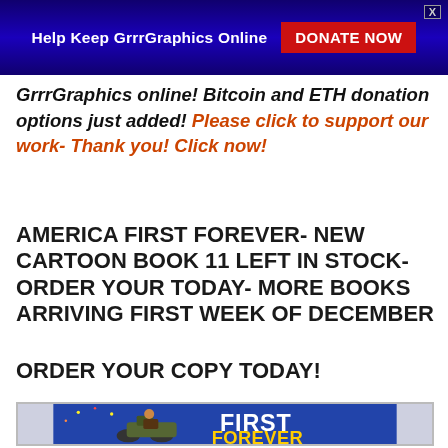Help Keep GrrrGraphics Online  DONATE NOW
GrrrGraphics online! Bitcoin and ETH donation options just added! Please click to support our work- Thank you! Click now!
AMERICA FIRST FOREVER- NEW CARTOON BOOK 11 LEFT IN STOCK- ORDER YOUR TODAY- MORE BOOKS ARRIVING FIRST WEEK OF DECEMBER
ORDER YOUR COPY TODAY!
[Figure (illustration): Book cover illustration showing a cartoon figure on a motorcycle with 'FIRST FOREVER' text and fireworks in the background]